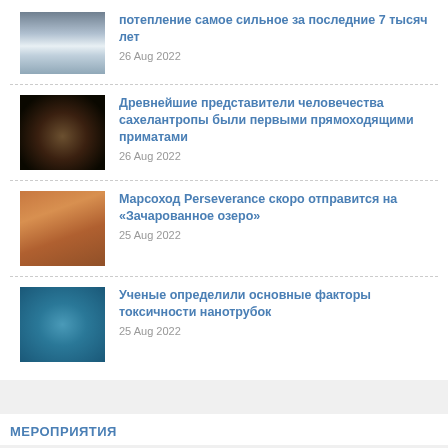потепление самое сильное за последние 7 тысяч лет
Древнейшие представители человечества сахелантропы были первыми прямоходящими приматами
Марсоход Perseverance скоро отправится на «Зачарованное озеро»
Ученые определили основные факторы токсичности нанотрубок
МЕРОПРИЯТИЯ